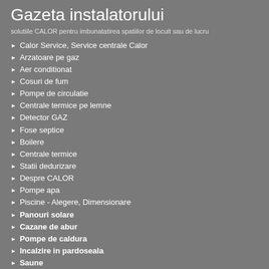Gazeta instalatorului
solutiile CALOR pentru imbunatatirea spatiilor de locuit sau de lucru
Calor Service, Service centrale Calor
Arzatoare pe gaz
Aer conditionat
Cosuri de fum
Pompe de circulatie
Centrale termice pe lemne
Detector GAZ
Fose septice
Boilere
Centrale termice
Statii dedurizare
Despre CALOR
Pompe apa
Piscine - Alegere, Dimensionare
Panouri solare
Cazane de abur
Pompe de caldura
Incalzire in pardoseala
Saune
Intrebari si raspunsuri